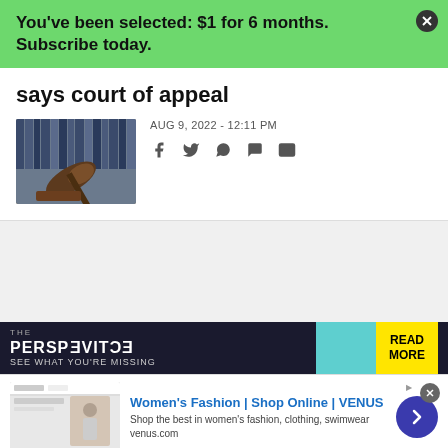You've been selected: $1 for 6 months. Subscribe today.
says court of appeal
[Figure (photo): Photo of a judge's gavel on a desk with law books in the background]
AUG 9, 2022 - 12:11 PM
[Figure (infographic): THE PERSPECTIVE - SEE WHAT YOU'RE MISSING - READ MORE advertisement banner]
[Figure (infographic): Women's Fashion | Shop Online | VENUS - Shop the best in women's fashion, clothing, swimwear - venus.com advertisement]